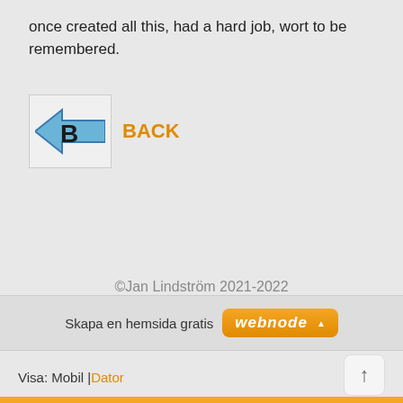once created all this, had a hard job, wort to be remembered.
[Figure (illustration): Blue back arrow icon with letter B, followed by orange BACK link text]
©Jan Lindström 2021-2022
Skapa en hemsida gratis [webnode button]
Visa: Mobil | Dator